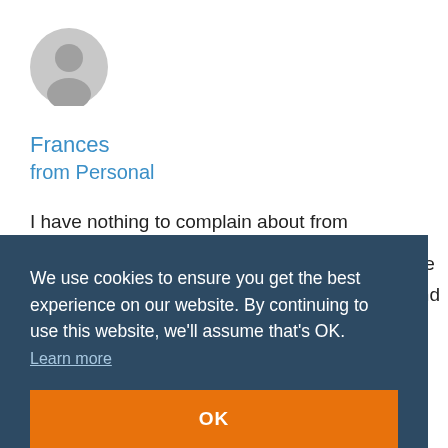[Figure (illustration): Grey circular avatar/profile icon placeholder]
Frances
from Personal
I have nothing to complain about from GoDaddy. I was new to setting up a website. The process was very user [friendly and the support was helpful]
We use cookies to ensure you get the best experience on our website. By continuing to use this website, we'll assume that's OK. Learn more
OK